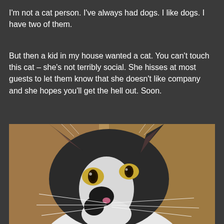I'm not a cat person.  I've always had dogs.  I like dogs.  I have two of them.
But then a kid in my house wanted a cat.  You can't touch this cat – she's not terribly social.  She hisses at most guests to let them know that she doesn't like company and she hopes you'll get the hell out.  Soon.
[Figure (photo): Close-up photo of a black and white tuxedo cat with wide amber/golden eyes, prominent whiskers, and alert ears, shot against a warm tan/brown background.]